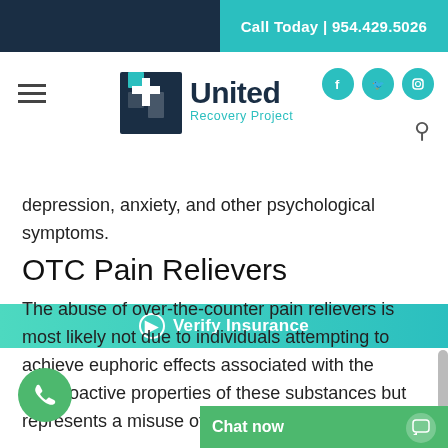Call Today | 954.429.5026
[Figure (logo): United Recovery Project logo with hamburger menu, social icons (Facebook, Twitter, Instagram), and search icon]
Verify Insurance
significant issues with dehydration, and many other issues, like hallucinations, delusions, depression, anxiety, and other psychological symptoms.
OTC Pain Relievers
The abuse of over-the-counter pain relievers is most likely not due to individuals attempting to achieve euphoric effects associated with the psychoactive properties of these substances but represents a misuse of these subst...